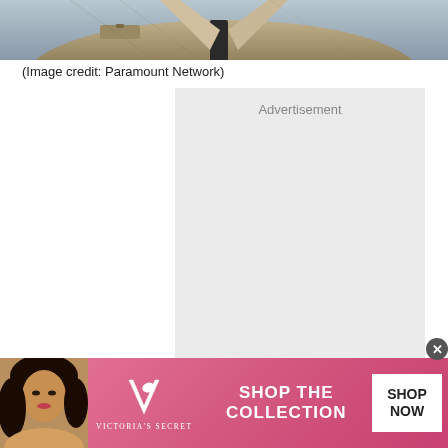[Figure (photo): Partial photo of a man wearing a brown/tan jacket, cropped at the top of the page]
(Image credit: Paramount Network)
[Figure (other): Advertisement placeholder box with light gray background and the word 'Advertisement' at the top]
[Figure (other): Victoria's Secret banner advertisement with pink gradient background, model photo on left, VS logo, 'SHOP THE COLLECTION' text, and 'SHOP NOW' white button on right]